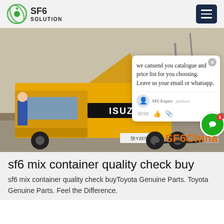SF6 SOLUTION
[Figure (screenshot): Hero photo of a yellow ISUZU truck with open top panels at an industrial/electrical substation site. A worker in blue stands nearby. A chat popup overlay reads: 'we cansend you catalogue and price list for you choosing. Leave us your email or whatsapp.' with SF6 Expert avatar and 'just now' timestamp. Orange watermark text 'SF6China' at bottom right.]
sf6 mix container quality check buy
sf6 mix container quality check buyToyota Genuine Parts. Toyota Genuine Parts. Feel the Difference.